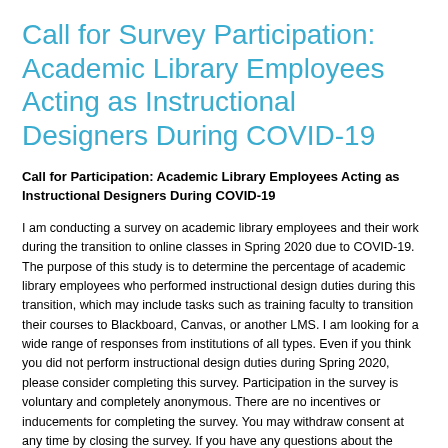Call for Survey Participation: Academic Library Employees Acting as Instructional Designers During COVID-19
Call for Participation: Academic Library Employees Acting as Instructional Designers During COVID-19
I am conducting a survey on academic library employees and their work during the transition to online classes in Spring 2020 due to COVID-19. The purpose of this study is to determine the percentage of academic library employees who performed instructional design duties during this transition, which may include tasks such as training faculty to transition their courses to Blackboard, Canvas, or another LMS. I am looking for a wide range of responses from institutions of all types. Even if you think you did not perform instructional design duties during Spring 2020, please consider completing this survey. Participation in the survey is voluntary and completely anonymous. There are no incentives or inducements for completing the survey. You may withdraw consent at any time by closing the survey. If you have any questions about the study, please contact me at cole1@otterbein.edu.